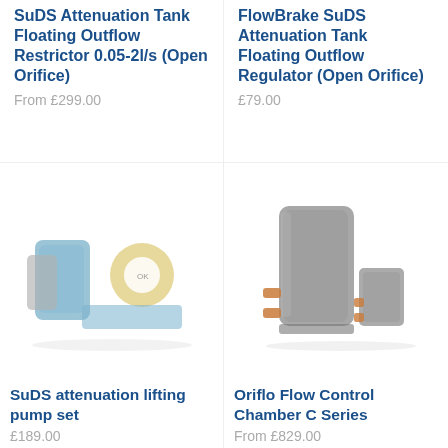SuDS Attenuation Tank Floating Outflow Restrictor 0.05-2l/s (Open Orifice)
From £299.00
FlowBrake SuDS Attenuation Tank Floating Outflow Regulator (Open Orifice)
£79.00
[Figure (photo): SuDS attenuation lifting pump set product image showing a blue pump with a circular yellow gasket/ring component and a rectangular panel]
SuDS attenuation lifting pump set
£189.00
[Figure (photo): Oriflo Flow Control Chamber C Series product image showing tall grey cylindrical chamber unit with orange pipe fittings and a smaller grey rectangular unit beside it]
Oriflo Flow Control Chamber C Series
From £829.00